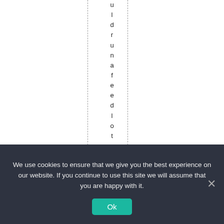uldrunafeedlotwith
We use cookies to ensure that we give you the best experience on our website. If you continue to use this site we will assume that you are happy with it.